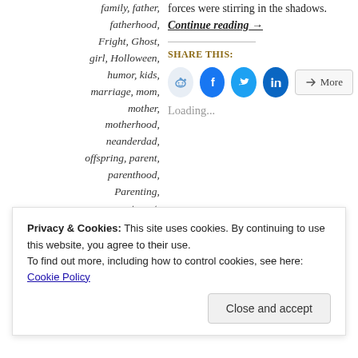family, father, fatherhood, Fright, Ghost, girl, Holloween, humor, kids, marriage, mom, mother, motherhood, neanderdad, offspring, parent, parenthood, Parenting, parents, pet, Scary, son, Spook, Snooked
forces were stirring in the shadows. Continue reading →
Share this:
Loading...
Privacy & Cookies: This site uses cookies. By continuing to use this website, you agree to their use. To find out more, including how to control cookies, see here: Cookie Policy
Close and accept